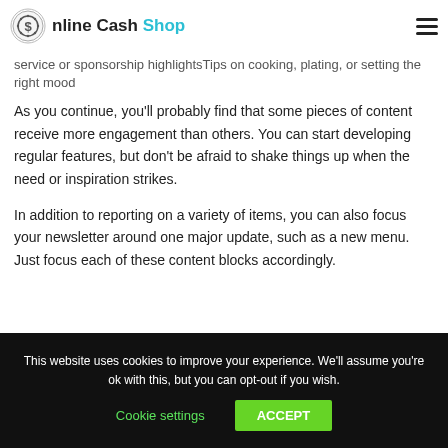Online Cash Shop
profilesAnnouncements related to the location or services with local businessesCommunity service or sponsorship highlightsTips on cooking, plating, or setting the right mood
As you continue, you'll probably find that some pieces of content receive more engagement than others. You can start developing regular features, but don't be afraid to shake things up when the need or inspiration strikes.
In addition to reporting on a variety of items, you can also focus your newsletter around one major update, such as a new menu. Just focus each of these content blocks accordingly.
This website uses cookies to improve your experience. We'll assume you're ok with this, but you can opt-out if you wish. Cookie settings  ACCEPT